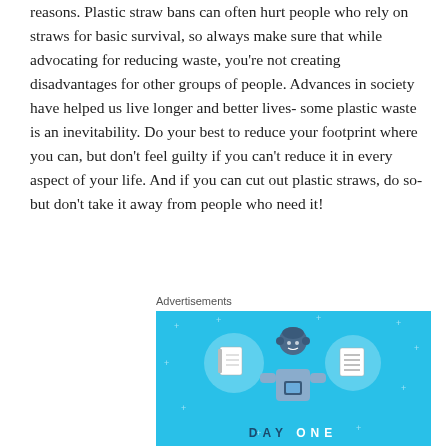reasons. Plastic straw bans can often hurt people who rely on straws for basic survival, so always make sure that while advocating for reducing waste, you’re not creating disadvantages for other groups of people. Advances in society have helped us live longer and better lives- some plastic waste is an inevitability. Do your best to reduce your footprint where you can, but don’t feel guilty if you can’t reduce it in every aspect of your life. And if you can cut out plastic straws, do so- but don’t take it away from people who need it!
Advertisements
[Figure (illustration): Advertisement banner with cyan/blue background showing a cartoon person holding a phone, flanked by two circular icons (notebook on left, list/document on right), with small sparkle dots scattered around. Text at the bottom reads 'DAY ONE' with 'ONE' in white letters.]